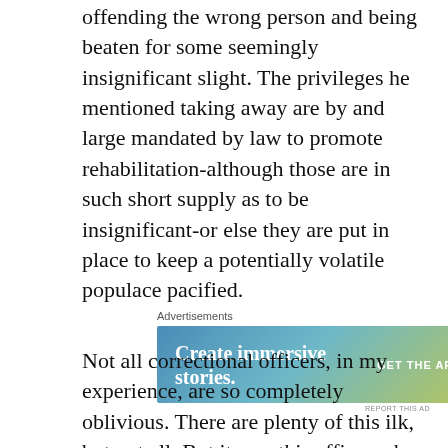offending the wrong person and being beaten for some seemingly insignificant slight. The privileges he mentioned taking away are by and large mandated by law to promote rehabilitation-although those are in such short supply as to be insignificant-or else they are put in place to keep a potentially volatile populace pacified.
[Figure (other): Advertisement banner for WordPress app: 'Create immersive stories. GET THE APP' with WordPress logo, gradient blue-green-yellow background]
Not all correctional officers, in my experience, are so completely oblivious. There are plenty of this ilk, but not all. But it was this officer who was waiting on my answer. It crawled from my